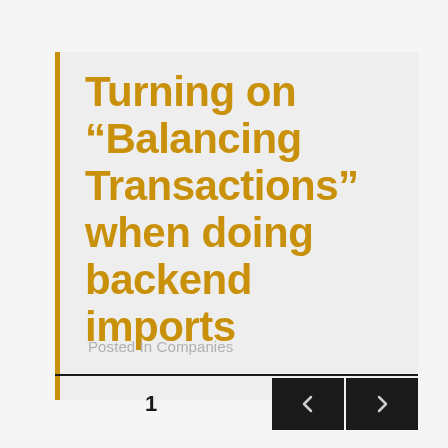Turning on “Balancing Transactions” when doing backend imports
Posted In Companies
1